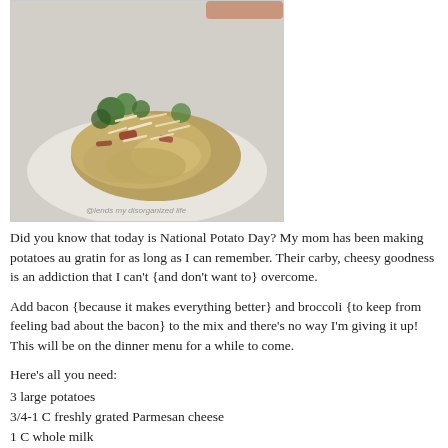[Figure (photo): A plate of potatoes au gratin with bacon and broccoli, topped with grated Parmesan cheese, on a white background. Watermark reads: @lends my disorganized life]
Did you know that today is National Potato Day? My mom has been making potatoes au gratin for as long as I can remember. Their carby, cheesy goodness is an addiction that I can't {and don't want to} overcome.
Add bacon {because it makes everything better} and broccoli {to keep from feeling bad about the bacon} to the mix and there's no way I'm giving it up! This will be on the dinner menu for a while to come.
Here's all you need:
3 large potatoes
3/4-1 C freshly grated Parmesan cheese
1 C whole milk
1 C broccoli florets